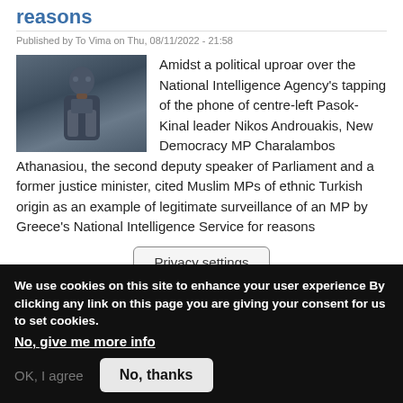reasons
Published by To Vima on Thu, 08/11/2022 - 21:58
[Figure (photo): Portrait photo of a man in a suit and tie, seated in what appears to be a formal setting]
Amidst a political uproar over the National Intelligence Agency's tapping of the phone of centre-left Pasok-Kinal leader Nikos Androuakis, New Democracy MP Charalambos Athanasiou, the second deputy speaker of Parliament and a former justice minister, cited Muslim MPs of ethnic Turkish origin as an example of legitimate surveillance of an MP by Greece's National Intelligence Service for reasons
Privacy settings
Suggested Topics in No th...
We use cookies on this site to enhance your user experience By clicking any link on this page you are giving your consent for us to set cookies.
No, give me more info
OK, I agree
No, thanks